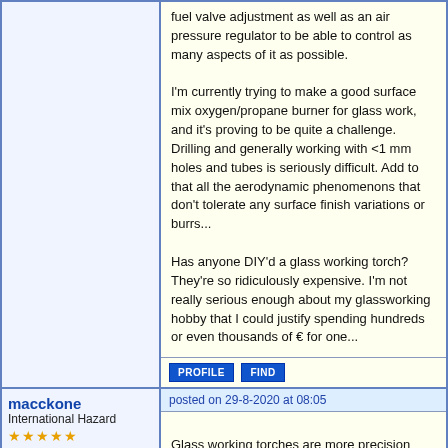fuel valve adjustment as well as an air pressure regulator to be able to control as many aspects of it as possible.

I'm currently trying to make a good surface mix oxygen/propane burner for glass work, and it's proving to be quite a challenge. Drilling and generally working with <1 mm holes and tubes is seriously difficult. Add to that all the aerodynamic phenomenons that don't tolerate any surface finish variations or burrs...

Has anyone DIY'd a glass working torch? They're so ridiculously expensive. I'm not really serious enough about my glassworking hobby that I could justify spending hundreds or even thousands of € for one...
macckone
International Hazard
★★★★★
Posts: 2137
Registered: 1-3-2013
Location: Over a mile high
Member Is Offline
Mood: Electrical
posted on 29-8-2020 at 08:05
Glass working torches are more precision devices than a metal melter.
You can make one from copper parts but you still need hoses and regulators for the propane/oxygen or hydrogen/oxygen mix depending on the type of glass. Borosilicate is usually hydrogen/oxygen mix from what I can tell. There are videos online about making HHO torches. But for real glass working you need compressed gas.